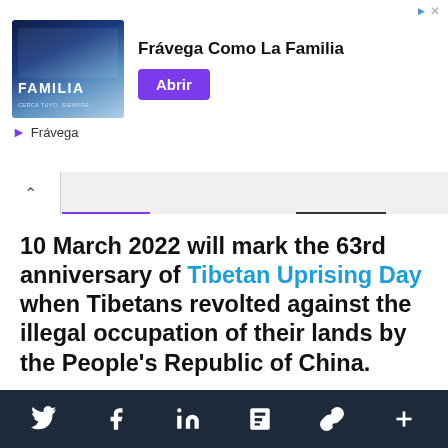[Figure (illustration): Advertisement banner for Frávega featuring group photo with text 'FAMILIA' and button 'Abrir', headline 'Frávega Como La Familia']
10 March 2022 will mark the 63rd anniversary of Tibetan Uprising Day when Tibetans revolted against the illegal occupation of their lands by the People's Republic of China.
Despite the uprising of 1959 resulting in thousands of deaths and mass exile, Tibetans have continued to struggle for their freedom ever since.
[Figure (screenshot): Social media sharing bar at bottom with Twitter, Facebook, LinkedIn, Flipboard, share link, and plus icons on dark navy background]